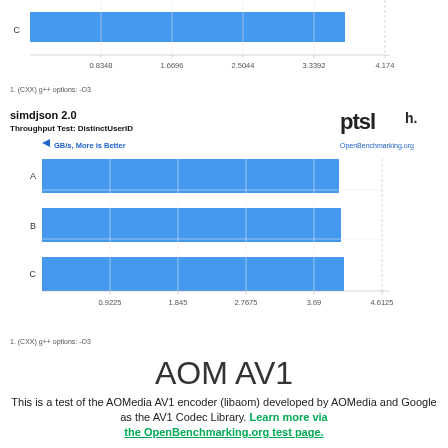[Figure (bar-chart): simdjson 2.0 - Throughput Test: DistinctUserID (top partial)]
1. (CXX) g++ options: -O3
[Figure (bar-chart): simdjson 2.0 - Throughput Test: DistinctUserID]
1. (CXX) g++ options: -O3
AOM AV1
This is a test of the AOMedia AV1 encoder (libaom) developed by AOMedia and Google as the AV1 Codec Library. Learn more via the OpenBenchmarking.org test page.